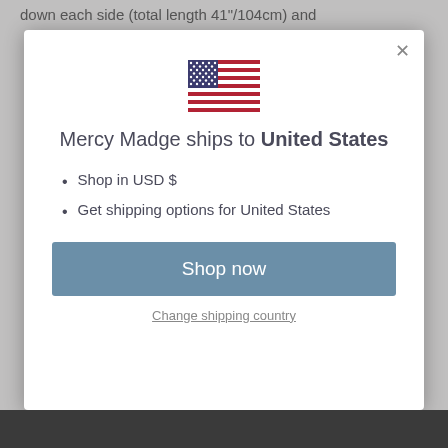down each side (total length 41"/104cm) and
[Figure (illustration): United States flag SVG illustration]
Mercy Madge ships to United States
Shop in USD $
Get shipping options for United States
Shop now
Change shipping country